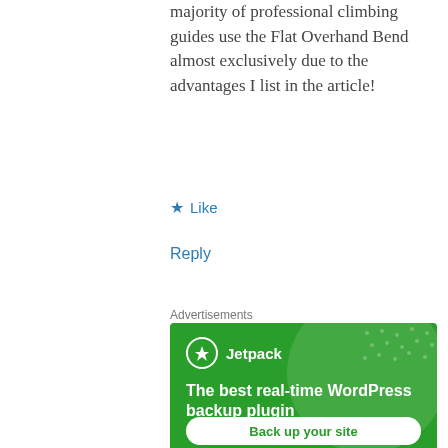majority of professional climbing guides use the Flat Overhand Bend almost exclusively due to the advantages I list in the article!
★ Like
Reply
Advertisements
[Figure (infographic): Jetpack advertisement banner with green background, Jetpack logo with lightning bolt icon, text 'The best real-time WordPress backup plugin', and a 'Back up your site' button]